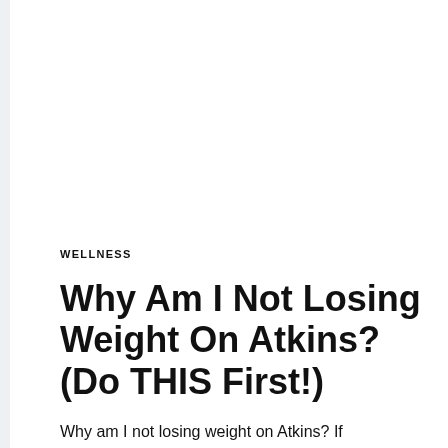WELLNESS
Why Am I Not Losing Weight On Atkins? (Do THIS First!)
Why am I not losing weight on Atkins? If